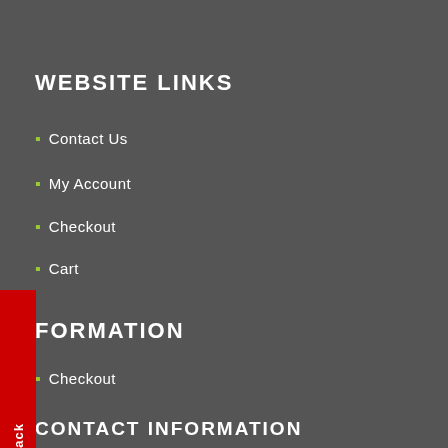WEBSITE LINKS
Contact Us
My Account
Checkout
Cart
FORMATION
Checkout
Blog
Disclaimer
CONTACT INFORMATION